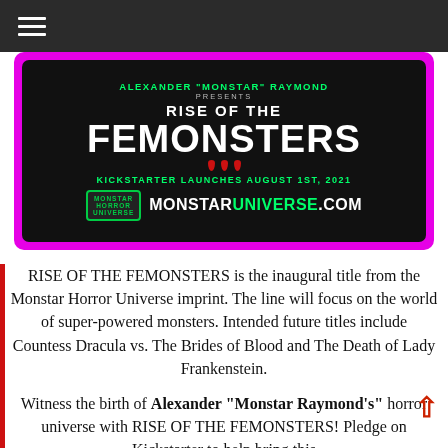☰
[Figure (illustration): Promotional banner for 'Rise of the Femonsters' Kickstarter campaign on a magenta/pink background with black inner box. Text reads: ALEXANDER "MONSTAR" RAYMOND PRESENTS RISE OF THE FEMONSTERS KICKSTARTER LAUNCHES AUGUST 1ST, 2021 MONSTARUNIVERSE.COM]
RISE OF THE FEMONSTERS is the inaugural title from the Monstar Horror Universe imprint. The line will focus on the world of super-powered monsters. Intended future titles include Countess Dracula vs. The Brides of Blood and The Death of Lady Frankenstein.
Witness the birth of Alexander "Monstar Raymond's" horror universe with RISE OF THE FEMONSTERS! Pledge on Kickstarter to help bring this